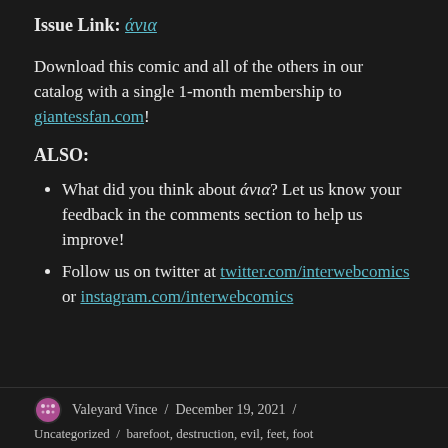Issue Link: άνια
Download this comic and all of the others in our catalog with a single 1-month membership to giantessfan.com!
ALSO:
What did you think about άνια? Let us know your feedback in the comments section to help us improve!
Follow us on twitter at twitter.com/interwebcomics or instagram.com/interwebcomics
Valeyard Vince / December 19, 2021 / Uncategorized / barefoot, destruction, evil, feet, foot